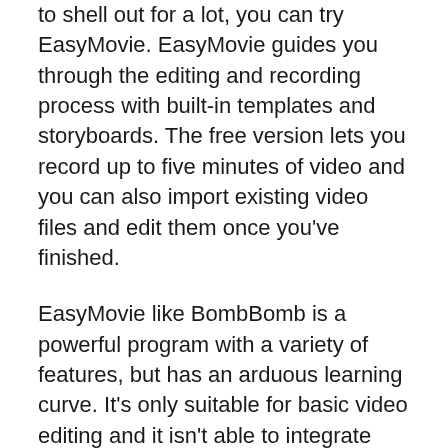to shell out for a lot, you can try EasyMovie. EasyMovie guides you through the editing and recording process with built-in templates and storyboards. The free version lets you record up to five minutes of video and you can also import existing video files and edit them once you've finished.
EasyMovie like BombBomb is a powerful program with a variety of features, but has an arduous learning curve. It's only suitable for basic video editing and it isn't able to integrate well with popular tools for business like HubSpot, ActiveCampaign, or Pipedrive. Although BombBomb is a popular tool however, it is lacking some features that make it a good alternative for novices.